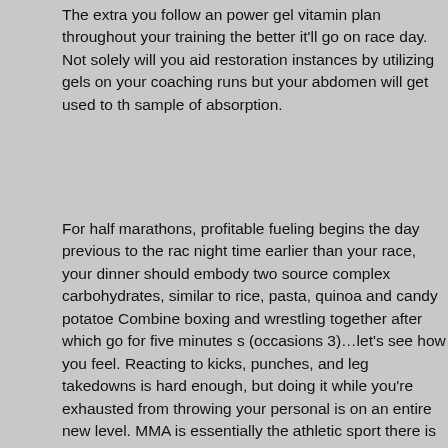The extra you follow an power gel vitamin plan throughout your training the better it'll go on race day. Not solely will you aid restoration instances by utilizing gels on your coaching runs but your abdomen will get used to the sample of absorption.
For half marathons, profitable fueling begins the day previous to the race. The night time earlier than your race, your dinner should embody two sources of complex carbohydrates, similar to rice, pasta, quinoa and candy potatoes. Combine boxing and wrestling together after which go for five minutes sparring (occasions 3)…let's see how you feel. Reacting to kicks, punches, and leg takedowns is hard enough, but doing it while you're exhausted from throwing your personal is on an entire new level. MMA is essentially the most athletic sport there is as a result of one incorrect move and you'll finish y no different sport has quite these risks.
The recommended guideline for fueling during endurance occasions is of carbohydrate each hour. So someone weighing less would begin on the decrease end of the gasoline range at grams per hour and somebody who weighs more would attempt grams. As you can see it's not an actual science and the key actually is to experiment, keep a log and go together with what works for you.
Irresistible MMA Tips